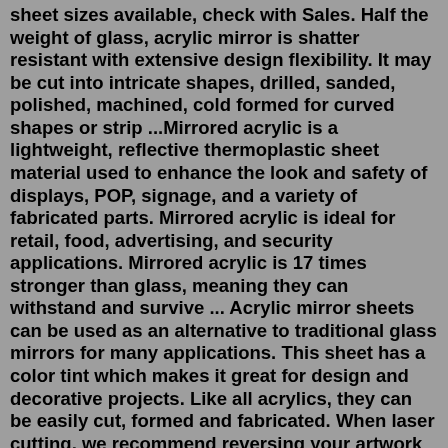sheet sizes available, check with Sales. Half the weight of glass, acrylic mirror is shatter resistant with extensive design flexibility. It may be cut into intricate shapes, drilled, sanded, polished, machined, cold formed for curved shapes or strip ...Mirrored acrylic is a lightweight, reflective thermoplastic sheet material used to enhance the look and safety of displays, POP, signage, and a variety of fabricated parts. Mirrored acrylic is ideal for retail, food, advertising, and security applications. Mirrored acrylic is 17 times stronger than glass, meaning they can withstand and survive ... Acrylic mirror sheets can be used as an alternative to traditional glass mirrors for many applications. This sheet has a color tint which makes it great for design and decorative projects. Like all acrylics, they can be easily cut, formed and fabricated. When laser cutting, we recommend reversing your artwork and cutting with the backing side ...Polycarbonate mirror will NOT break from impact. Our 1/8" (.118") and 1/4" (.236") thick polycarbonate mirror is made from Makrolon